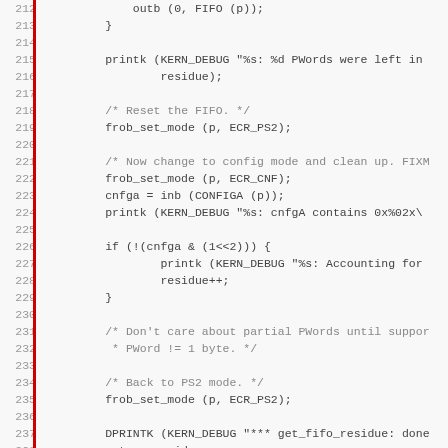Source code listing lines 212-243, C kernel code with FIFO and IEEE 1284 support